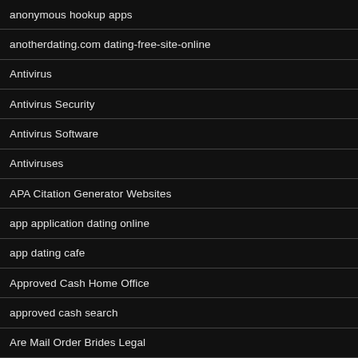anonymous hookup apps
anotherdating.com dating-free-site-online
Antivirus
Antivirus Security
Antivirus Software
Antiviruses
APA Citation Generator Websites
app application dating online
app dating cafe
Approved Cash Home Office
approved cash search
Are Mail Order Brides Legal